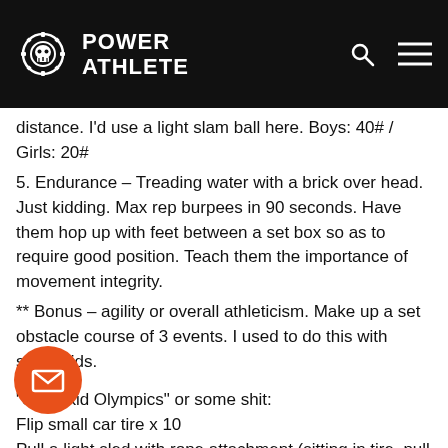POWER ATHLETE
distance. I'd use a light slam ball here. Boys: 40# / Girls: 20#
5. Endurance – Treading water with a brick over head. Just kidding. Max rep burpees in 90 seconds. Have them hop up with feet between a set box so as to require good position. Teach them the importance of movement integrity.
** Bonus – agility or overall athleticism. Make up a set obstacle course of 3 events. I used to do this with some kids.
“Superkid Olympics” or some shit:
Flip small car tire x 10
Pull a light sled with rope attachment (sitting in tire, pull with upper body only)
Once the sled hits the tire, Push it back down (sprint) record time. Takes about 90 seconds.
Hope this was helpful!